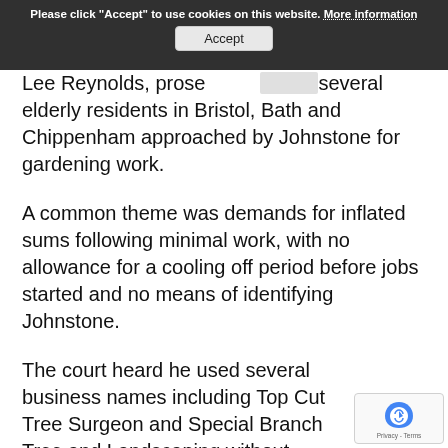Please click "Accept" to use cookies on this website. More information
Lee Reynolds, prosecuted several elderly residents in Bristol, Bath and Chippenham approached by Johnstone for gardening work.
A common theme was demands for inflated sums following minimal work, with no allowance for a cooling off period before jobs started and no means of identifying Johnstone.
The court heard he used several business names including Top Cut Tree Surgeon and Special Branch Tree and Landscaping without clarifying his whereabouts and using an 0800 telephone number.